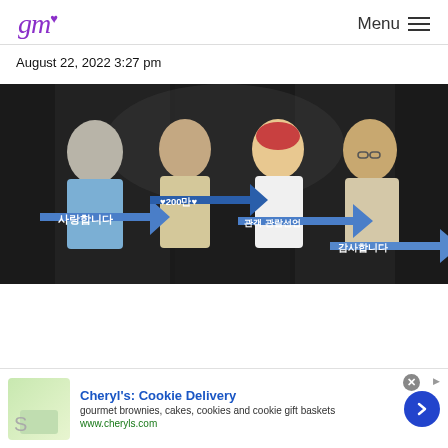gm [logo] | Menu ≡
August 22, 2022 3:27 pm
[Figure (photo): Four people standing and holding blue arrow-shaped signs with Korean text. The signs read: 사랑합니다, ♥200만♥, 관객 관람선언, 감사합니다. Background is dark panels, people are smiling.]
[Figure (other): Advertisement banner for Cheryl's: Cookie Delivery — gourmet brownies, cakes, cookies and cookie gift baskets. www.cheryls.com]